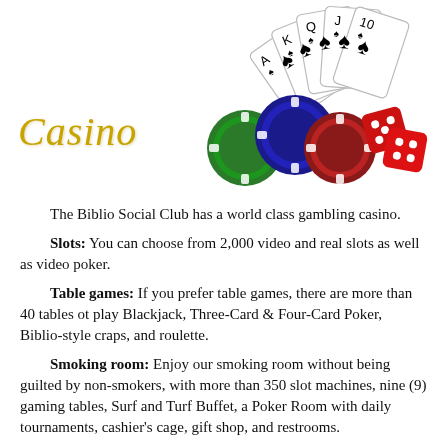[Figure (illustration): Casino themed header image with playing cards (royal flush in spades), stacked poker chips in green, blue, and red, and red dice with white dots, alongside a gold italic 'Casino' script text on white background.]
The Biblio Social Club has a world class gambling casino.
Slots: You can choose from 2,000 video and real slots as well as video poker.
Table games: If you prefer table games, there are more than 40 tables ot play Blackjack, Three-Card & Four-Card Poker, Biblio-style craps, and roulette.
Smoking room: Enjoy our smoking room without being guilted by non-smokers, with more than 350 slot machines, nine (9) gaming tables, Surf and Turf Buffet, a Poker Room with daily tournaments, cashier's cage, gift shop, and restrooms.